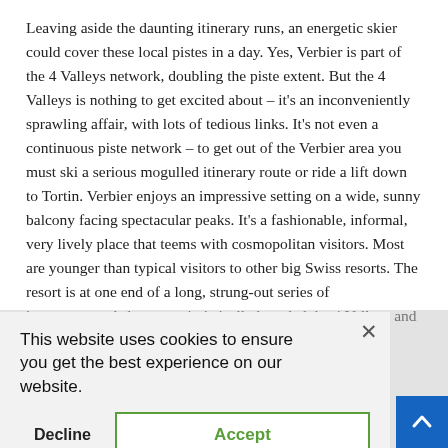Leaving aside the daunting itinerary runs, an energetic skier could cover these local pistes in a day. Yes, Verbier is part of the 4 Valleys network, doubling the piste extent. But the 4 Valleys is nothing to get excited about – it's an inconveniently sprawling affair, with lots of tedious links. It's not even a continuous piste network – to get out of the Verbier area you must ski a serious mogulled itinerary route or ride a lift down to Tortin. Verbier enjoys an impressive setting on a wide, sunny balcony facing spectacular peaks. It's a fashionable, informal, very lively place that teems with cosmopolitan visitors. Most are younger than typical visitors to other big Swiss resorts. The resort is at one end of a long, strung-out series of interconnected slopes, optimistically branded the 4 Valleys and linking Verbier to Nendaz, [obscured] have [obscured] than [obscured] more [obscured] venture [obscured] more [obscured] the [obscured] rbier. You [obscured] as [obscured] m [obscured] an excellent base. There's more on all these places at the end of the
[Figure (screenshot): Cookie consent dialog overlay on a webpage. Contains message 'This website uses cookies to ensure you get the best experience on our website.' with Decline and Accept buttons, and an X close button. A blue scroll-to-top button appears in the bottom-right corner.]